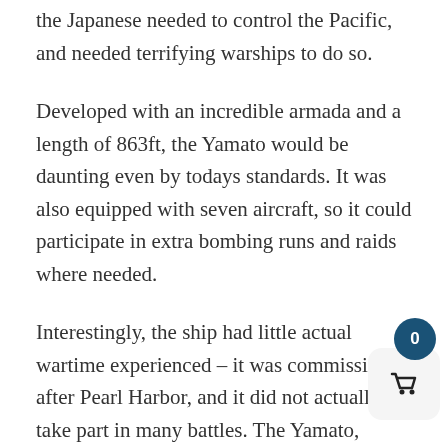the Japanese needed to control the Pacific, and needed terrifying warships to do so.
Developed with an incredible armada and a length of 863ft, the Yamato would be daunting even by todays standards. It was also equipped with seven aircraft, so it could participate in extra bombing runs and raids where needed.
Interestingly, the ship had little actual wartime experienced – it was commissioned after Pearl Harbor, and it did not actually take part in many battles. The Yamato, though, did take part in battles like the Battle of the Philippine Sea, even if it did not fire a shot in anger. The only time the ship actually used its immense firepower